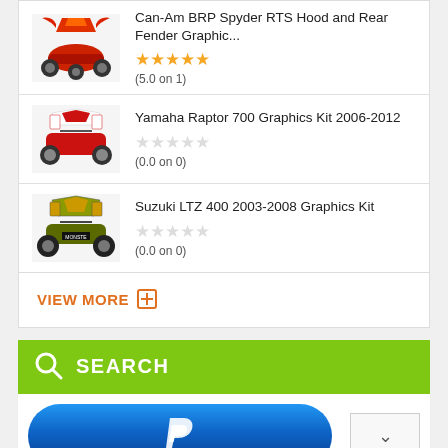Can-Am BRP Spyder RTS Hood and Rear Fender Graphic...
(5.0 on 1)
Yamaha Raptor 700 Graphics Kit 2006-2012
(0.0 on 0)
Suzuki LTZ 400 2003-2008 Graphics Kit
(0.0 on 0)
VIEW MORE ⊞
SEARCH
[Figure (logo): PayPal button with blue gradient rounded rectangle and white P logo]